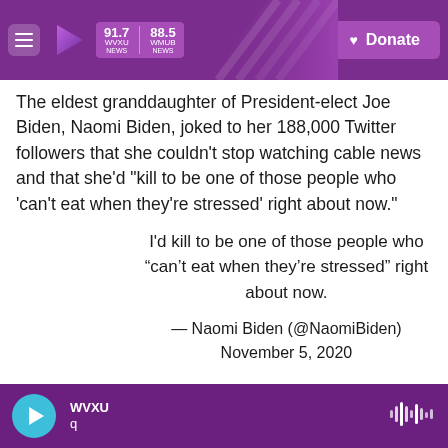[Figure (screenshot): WVXU/WMUB radio station header with 91.7 WVXU NEWS and 88.5 WMUB NEWS logos and Donate button]
The eldest granddaughter of President-elect Joe Biden, Naomi Biden, joked to her 188,000 Twitter followers that she couldn't stop watching cable news and that she'd "kill to be one of those people who 'can't eat when they're stressed' right about now."
I'd kill to be one of those people who “can’t eat when they’re stressed” right about now.
— Naomi Biden (@NaomiBiden) November 5, 2020
[Figure (screenshot): WVXU radio player footer bar with play button, station name WVXU, q text, and waveform icon]